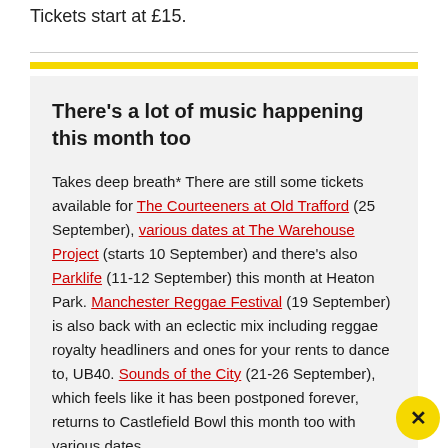Tickets start at £15.
There's a lot of music happening this month too
Takes deep breath* There are still some tickets available for The Courteeners at Old Trafford (25 September), various dates at The Warehouse Project (starts 10 September) and there's also Parklife (11-12 September) this month at Heaton Park. Manchester Reggae Festival (19 September) is also back with an eclectic mix including reggae royalty headliners and ones for your rents to dance to, UB40. Sounds of the City (21-26 September), which feels like it has been postponed forever, returns to Castlefield Bowl this month too with various dates